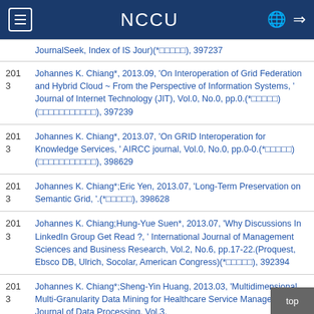NCCU
JournalSeek, Index of IS Jour)(*□□□□□), 397237
Johannes K. Chiang*, 2013.09, 'On Interoperation of Grid Federation and Hybrid Cloud ~ From the Perspective of Information Systems, ' Journal of Internet Technology (JIT), Vol.0, No.0, pp.0.(*□□□□□)(□□□□□□□□□□□), 397239
Johannes K. Chiang*, 2013.07, 'On GRID Interoperation for Knowledge Services, ' AIRCC journal, Vol.0, No.0, pp.0-0.(*□□□□□)(□□□□□□□□□□□), 398629
Johannes K. Chiang*;Eric Yen, 2013.07, 'Long-Term Preservation on Semantic Grid, '.(*□□□□□), 398628
Johannes K. Chiang;Hung-Yue Suen*, 2013.07, 'Why Discussions In LinkedIn Group Get Read ?, ' International Journal of Management Sciences and Business Research, Vol.2, No.6, pp.17-22.(Proquest, Ebsco DB, Ulrich, Socolar, American Congress)(*□□□□□), 392394
Johannes K. Chiang*;Sheng-Yin Huang, 2013.03, 'Multidimensional Multi-Granularity Data Mining for Healthcare Service Management, ' Journal of Data Processing, Vol.3,